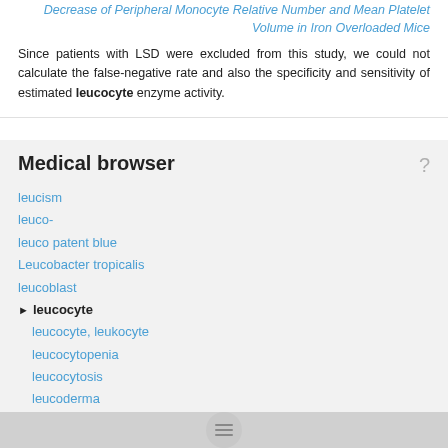Decrease of Peripheral Monocyte Relative Number and Mean Platelet Volume in Iron Overloaded Mice
Since patients with LSD were excluded from this study, we could not calculate the false-negative rate and also the specificity and sensitivity of estimated leucocyte enzyme activity.
Medical browser
leucism
leuco-
leuco patent blue
Leucobacter tropicalis
leucoblast
leucocyte
leucocyte, leukocyte
leucocytopenia
leucocytosis
leucoderma
leucodystrophies
leucoencephalopathy